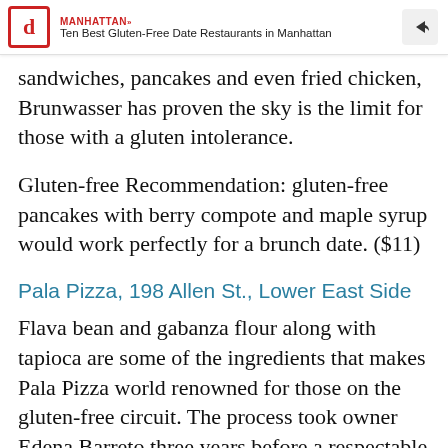MANHATTAN» Ten Best Gluten-Free Date Restaurants in Manhattan
sandwiches, pancakes and even fried chicken, Brunwasser has proven the sky is the limit for those with a gluten intolerance.
Gluten-free Recommendation: gluten-free pancakes with berry compote and maple syrup would work perfectly for a brunch date. ($11)
Pala Pizza, 198 Allen St., Lower East Side
Flava bean and gabanza flour along with tapioca are some of the ingredients that makes Pala Pizza world renowned for those on the gluten-free circuit. The process took owner Edena Barreto three years before a respectable